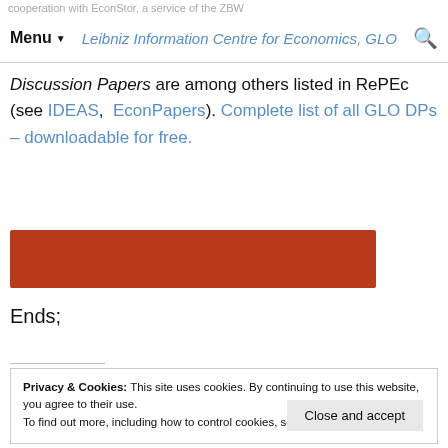cooperation with EconStor, a service of the ZBW — Leibniz Information Centre for Economics, GLO
Discussion Papers are among others listed in RePEc (see IDEAS, EconPapers). Complete list of all GLO DPs – downloadable for free.
[Figure (other): Solid dark red/orange horizontal banner bar]
Ends;
Privacy & Cookies: This site uses cookies. By continuing to use this website, you agree to their use.
To find out more, including how to control cookies, see here: Cookie Policy